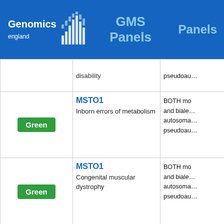Genomics England GMS Panels | Panels
| Rating | Gene / Panel | Mode |
| --- | --- | --- |
| Green | disability | pseudoau... |
| Green | MSTO1
Inborn errors of metabolism | BOTH mo... and bialle... autosoma... pseudoau... |
| Green | MSTO1
Congenital muscular dystrophy | BOTH mo... and bialle... autosoma... pseudoau... |
| Green | MT-ATP6
Inborn errors of metabolism | MITOCH... |
| Green | MT-ATP8
Inborn errors of metabolism | MITOCH... |